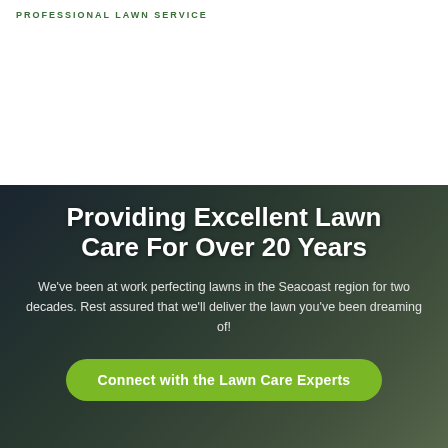PROFESSIONAL LAWN SERVICE
Providing Excellent Lawn Care For Over 20 Years
We've been at work perfecting lawns in the Seacoast region for two decades. Rest assured that we'll deliver the lawn you've been dreaming of!
Connect with the Lawn Care Experts